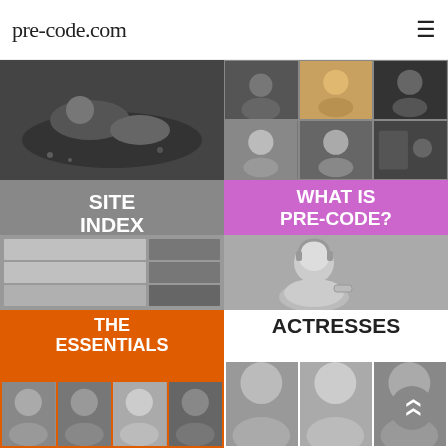pre-code.com
[Figure (photo): Black and white photo collage: left half shows a large B&W photo of a couple lying together; right half shows a 2x3 grid of B&W and color-tinted portrait photos of actresses]
[Figure (screenshot): Site Index block: gray background with white bold text SITE INDEX and thumbnail previews of website pages below]
[Figure (photo): What is Pre-Code? block: purple background with white bold text WHAT IS PRE-CODE? and a B&W photo of a smiling blonde woman below]
[Figure (photo): The Essentials block: orange background with white bold text THE ESSENTIALS and B&W photo thumbnails of film stills below]
[Figure (photo): Actresses block: white background with black bold text ACTRESSES and B&W photo thumbnails of actresses below]